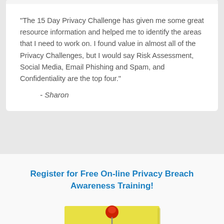"The 15 Day Privacy Challenge has given me some great resource information and helped me to identify the areas that I need to work on. I found value in almost all of the Privacy Challenges, but I would say Risk Assessment, Social Media, Email Phishing and Spam, and Confidentiality are the top four."
- Sharon
Register for Free On-line Privacy Breach Awareness Training!
[Figure (illustration): A yellow sticky note with a red push pin at the top, and a light bulb illustration drawn on it]